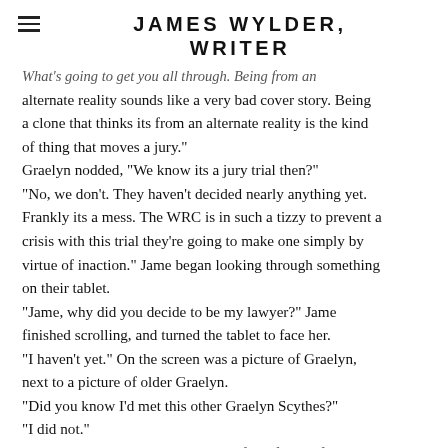JAMES WYLDER, WRITER
What's going to get you all through. Being from an alternate reality sounds like a very bad cover story. Being a clone that thinks its from an alternate reality is the kind of thing that moves a jury."
Graelyn nodded, "We know its a jury trial then?"
"No, we don't. They haven't decided nearly anything yet. Frankly its a mess. The WRC is in such a tizzy to prevent a crisis with this trial they're going to make one simply by virtue of inaction." Jame began looking through something on their tablet.
"Jame, why did you decide to be my lawyer?" Jame finished scrolling, and turned the tablet to face her.
"I haven't yet." On the screen was a picture of Graelyn, next to a picture of older Graelyn.
"Did you know I'd met this other Graelyn Scythes?"
"I did not."
"She was an intolerable know it all, full of herself, and extremely condescending."
"I'm at least not one of those things."